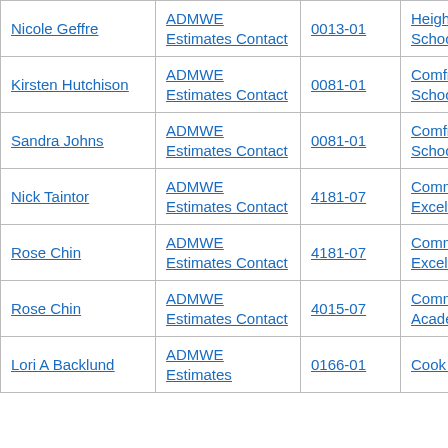| Name | Role | Code | Organization | Email |
| --- | --- | --- | --- | --- |
| Nicole Geffre | ADMWE Estimates Contact | 0013-01 | Heights Public School District | geffren@ |
| Kirsten Hutchison | ADMWE Estimates Contact | 0081-01 | Comfrey Public School District | khutchiso |
| Sandra Johns | ADMWE Estimates Contact | 0081-01 | Comfrey Public School District | sjohns@ |
| Nick Taintor | ADMWE Estimates Contact | 4181-07 | Community School of Excellence | nick.taint |
| Rose Chin | ADMWE Estimates Contact | 4181-07 | Community School of Excellence | rose.chin |
| Rose Chin | ADMWE Estimates Contact | 4015-07 | Community of Peace Academy | rose.chin |
| Lori A Backlund | ADMWE Estimates | 0166-01 | Cook County Public | lbacklund |